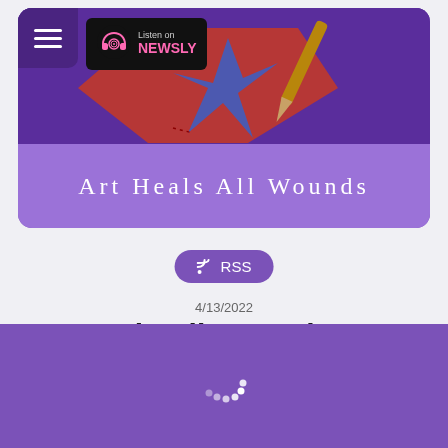[Figure (screenshot): Top card with purple background showing a craft/heart image with needle, hamburger menu icon, Newsly badge, and 'Art Heals All Wounds' title banner]
RSS
4/13/2022
Art Heals All Wounds: Rachel Dusa
[Figure (other): Purple player bar with loading spinner animation]